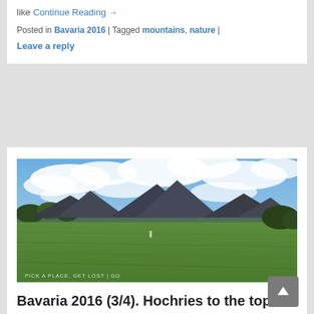like Continue Reading →
Posted in Bavaria 2016 | Tagged mountains, nature | Leave a reply
[Figure (photo): Panoramic landscape photo of Bavarian Alps with mountains in background, green grass meadow in foreground, and partly cloudy blue sky. Watermark text at bottom: PICK A PLACE, GET LOST | GO]
Bavaria 2016 (3/4). Hochries to the top
Posted on 21/10/2016 by Giorgia — Leave a reply